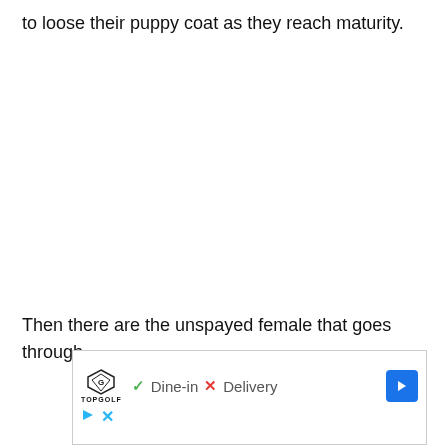to loose their puppy coat as they reach maturity.
Then there are the unspayed female that goes through
[Figure (screenshot): Advertisement screenshot showing Topgolf logo, Dine-in with green checkmark, Delivery with red X, a blue navigation arrow, a play button icon, and a close button icon.]